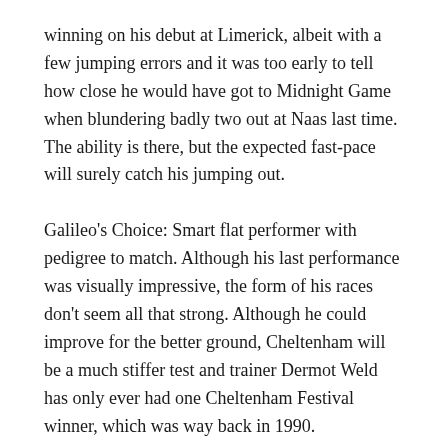winning on his debut at Limerick, albeit with a few jumping errors and it was too early to tell how close he would have got to Midnight Game when blundering badly two out at Naas last time. The ability is there, but the expected fast-pace will surely catch his jumping out.
Galileo's Choice: Smart flat performer with pedigree to match. Although his last performance was visually impressive, the form of his races don't seem all that strong. Although he could improve for the better ground, Cheltenham will be a much stiffer test and trainer Dermot Weld has only ever had one Cheltenham Festival winner, which was way back in 1990.
Midnight Game: After taking a few runs to get going, he has looked promising with two decent wins at both